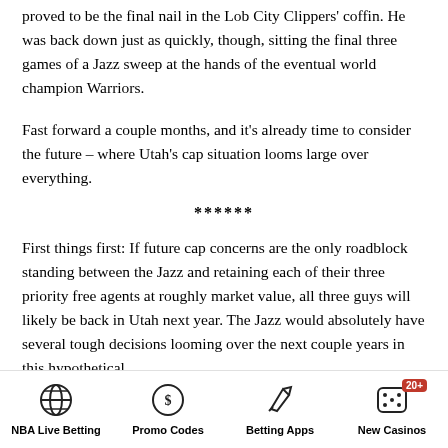proved to be the final nail in the Lob City Clippers' coffin. He was back down just as quickly, though, sitting the final three games of a Jazz sweep at the hands of the eventual world champion Warriors.
Fast forward a couple months, and it's already time to consider the future – where Utah's cap situation looms large over everything.
******
First things first: If future cap concerns are the only roadblock standing between the Jazz and retaining each of their three priority free agents at roughly market value, all three guys will likely be back in Utah next year. The Jazz would absolutely have several tough decisions looming over the next couple years in this hypothetical
NBA Live Betting | Promo Codes | Betting Apps | New Casinos 20+